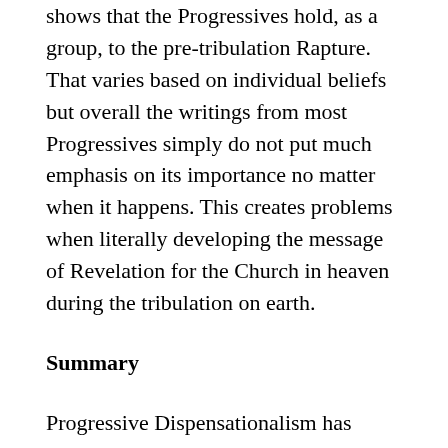shows that the Progressives hold, as a group, to the pre-tribulation Rapture. That varies based on individual beliefs but overall the writings from most Progressives simply do not put much emphasis on its importance no matter when it happens. This creates problems when literally developing the message of Revelation for the Church in heaven during the tribulation on earth.
Summary
Progressive Dispensationalism has taken the adjective to underscore the link its adherents see to the progressive revelation of God, bringing together the ‘best’ of the Covenant